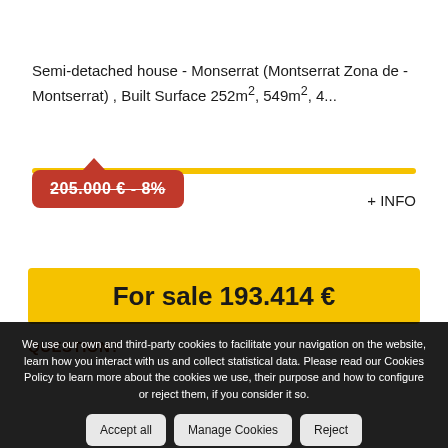Semi-detached house - Monserrat (Montserrat Zona de - Montserrat) , Built Surface 252m², 549m², 4...
205.000 € - 8%
+ INFO
For sale 193.414 €
We use our own and third-party cookies to facilitate your navigation on the website, learn how you interact with us and collect statistical data. Please read our Cookies Policy to learn more about the cookies we use, their purpose and how to configure or reject them, if you consider it so.
QUESTION?
Accept all
Manage Cookies
Reject